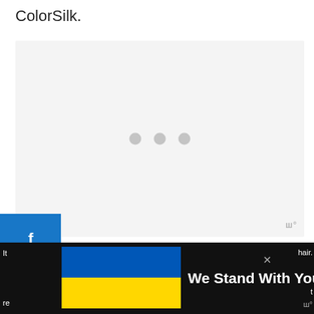ColorSilk.
[Figure (screenshot): Light gray content placeholder box with three gray loading dots in the center, indicating content is loading. A small watermark logo appears in the bottom right corner.]
[Figure (other): Blue Facebook share button icon]
[Figure (other): Blue Twitter share button icon]
[Figure (other): Blue Pinterest share button with count 35]
We Stand With You
[Figure (other): Ukraine flag in bottom banner advertisement]